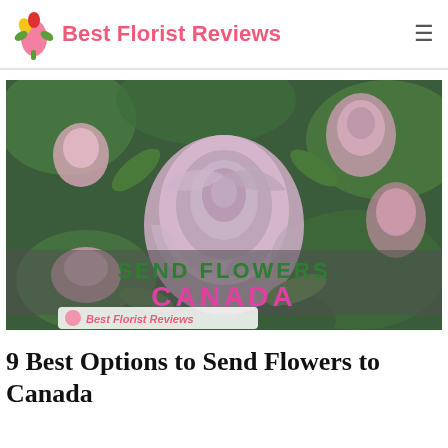Best Florist Reviews
[Figure (photo): Hero image of pink/lavender roses with green bokeh background, overlaid text reading 'SEND FLOWERS CANADA' with 'Best Florist Reviews' logo watermark in bottom left]
9 Best Options to Send Flowers to Canada